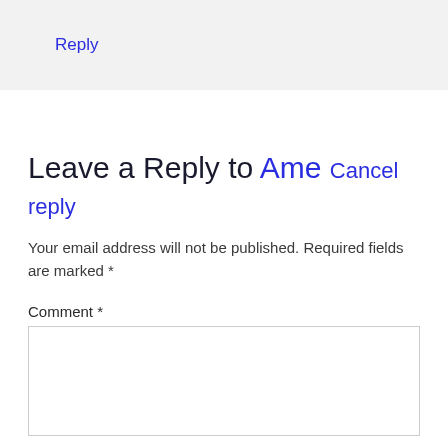Reply
Leave a Reply to Ame Cancel reply
Your email address will not be published. Required fields are marked *
Comment *